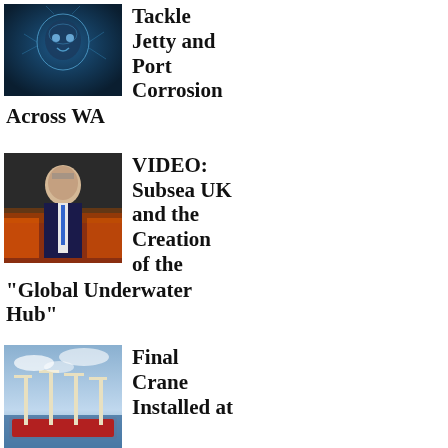[Figure (photo): AI/brain digital face image on dark blue background]
Tackle Jetty and Port Corrosion Across WA
[Figure (photo): Man in suit standing at what appears to be an industry event or exhibition hall]
VIDEO: Subsea UK and the Creation of the "Global Underwater Hub"
[Figure (photo): Aerial view of port with cranes and large container ship]
Final Crane Installed at Charleston's Wando Welch Terminal